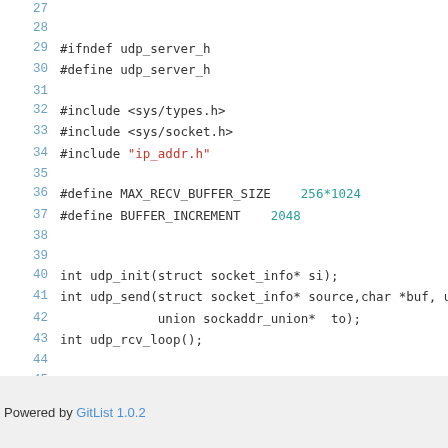Source code listing lines 27-47 of udp_server.h
Powered by GitList 1.0.2